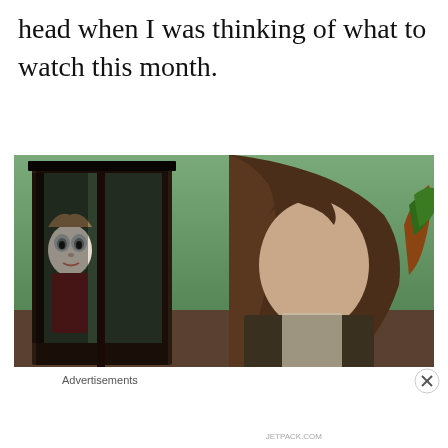head when I was thinking of what to watch this month.
[Figure (photo): Horror movie still showing a creepy doll in a glass cabinet on the left and a young woman with long messy brown hair looking down on the right, in a dimly lit room with green walls.]
[Figure (screenshot): Jetpack advertisement banner with green background, Jetpack logo on left and 'Back up your site' button on right. Labeled 'Advertisements' above.]